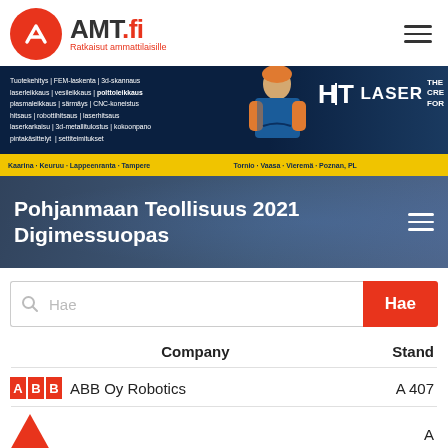[Figure (logo): AMT.fi logo with red circle containing white A symbol, bold AMT.fi text, red subtitle Ratkaisut ammattilaisille, and hamburger menu icon]
[Figure (photo): HT Laser advertisement banner on dark navy background showing a smiling worker in blue jacket, Finnish text listing services, HT LASER logo, yellow bar with location names: Kaarina, Keuruu, Lappeenranta, Tampere, Tornio, Vaasa, Vieremä, Poznan PL]
Pohjanmaan Teollisuus 2021 Digimessuopas
Hae (search placeholder)
| Company | Stand |
| --- | --- |
| ABB Oy Robotics | A 407 |